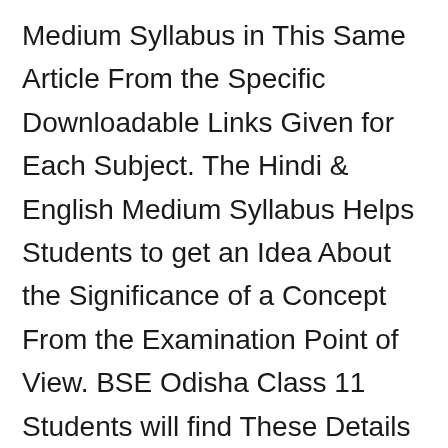Medium Syllabus in This Same Article From the Specific Downloadable Links Given for Each Subject. The Hindi & English Medium Syllabus Helps Students to get an Idea About the Significance of a Concept From the Examination Point of View. BSE Odisha Class 11 Students will find These Details Very Helpful to Plan Their Studies. Students Viewing This Hindi & English Medium Syllabus 2022 will get to Know That the Topics Included in This Class 11 Maths are Sets and Functions, Calculus, Mathematical Reasoning, Statistics and Probability, and So, They can